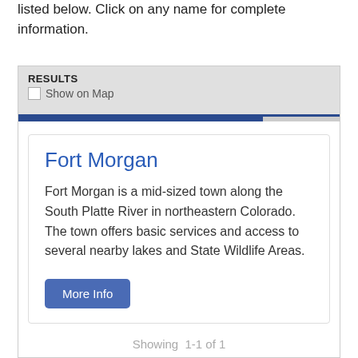listed below. Click on any name for complete information.
RESULTS
Show on Map
Fort Morgan
Fort Morgan is a mid-sized town along the South Platte River in northeastern Colorado. The town offers basic services and access to several nearby lakes and State Wildlife Areas.
More Info
Showing  1-1 of 1